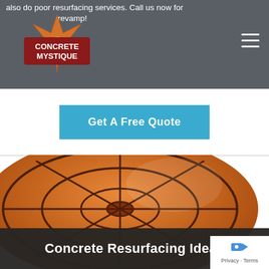also do poor resurfacing services. Call us now for a revamp!
[Figure (logo): Concrete Mystique logo with starburst design in orange/brown and dark red banner with white text]
Get A Free Quote
[Figure (photo): Overhead photo of a decorative stamped/stained concrete floor with circular medallion pattern in terracotta/orange tones with dark brown dividing lines, with metal railing visible]
Concrete Resurfacing Ideas
Privacy - Terms